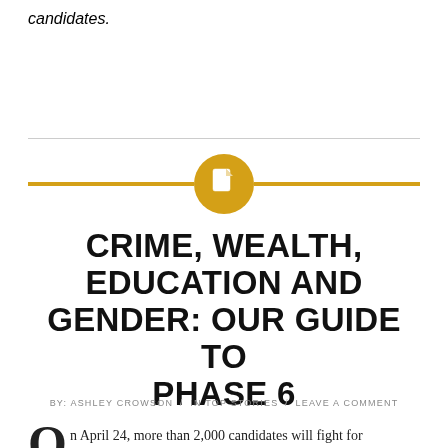candidates.
[Figure (illustration): Golden horizontal line with a golden circle icon containing a white document/article icon in the center]
CRIME, WEALTH, EDUCATION AND GENDER: OUR GUIDE TO PHASE 6
BY: ASHLEY CROWSON / IN TOP STORIES / LEAVE A COMMENT
On April 24, more than 2,000 candidates will fight for